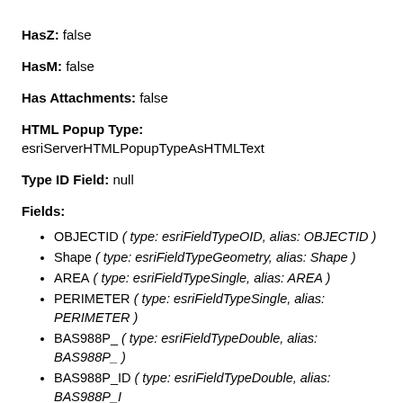HasZ: false
HasM: false
Has Attachments: false
HTML Popup Type: esriServerHTMLPopupTypeAsHTMLText
Type ID Field: null
Fields:
OBJECTID ( type: esriFieldTypeOID, alias: OBJECTID )
Shape ( type: esriFieldTypeGeometry, alias: Shape )
AREA ( type: esriFieldTypeSingle, alias: AREA )
PERIMETER ( type: esriFieldTypeSingle, alias: PERIMETER )
BAS988P_ ( type: esriFieldTypeDouble, alias: BAS988P_ )
BAS988P_ID ( type: esriFieldTypeDouble, alias: BAS988P_ID )
ID ( type: esriFieldTypeSmallInteger, alias: ID )
SQM ( type: esriFieldTypeSingle, alias: SQM )
PT988_ ( type: esriFieldTypeDouble, alias: PT988_ )
PT988_ID ( type: esriFieldTypeDouble, alias: PT988_ID )
STRAHLER ( type: esriFieldTypeDouble, alias: STRAHLER )
Shape_Length ( type: esriFieldTypeDouble, alias: Shape_Length )